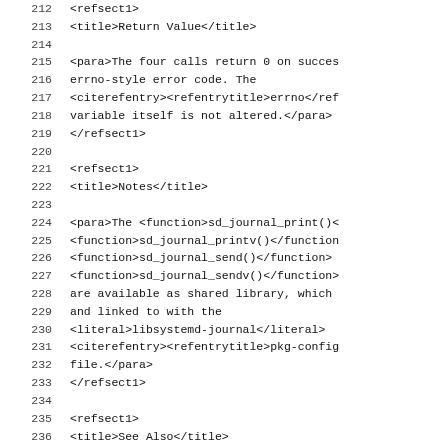Source code listing, lines 212-243, XML/DocBook markup content
212     <refsect1>
213             <title>Return Value</title>
214
215             <para>The four calls return 0 on succes
216             errno-style error code. The
217             <citerefentry><refentrytitle>errno</ref
218             variable itself is not altered.</para>
219     </refsect1>
220
221     <refsect1>
222             <title>Notes</title>
223
224             <para>The <function>sd_journal_print()<
225             <function>sd_journal_printv()</function
226             <function>sd_journal_send()</function>
227             <function>sd_journal_sendv()</function>
228             are available as shared library, which
229             and linked to with the
230             <literal>libsystemd-journal</literal>
231             <citerefentry><refentrytitle>pkg-config
232             file.</para>
233     </refsect1>
234
235     <refsect1>
236             <title>See Also</title>
237
238             <para>
239                     <citerefentry><refentrytitle>sy
240                     <citerefentry><refentrytitle>sd
241                     <citerefentry><refentrytitle>sd
242                     <citerefentry><refentrytitle>sy
243                     <citerefentry><refentrytitle>pe